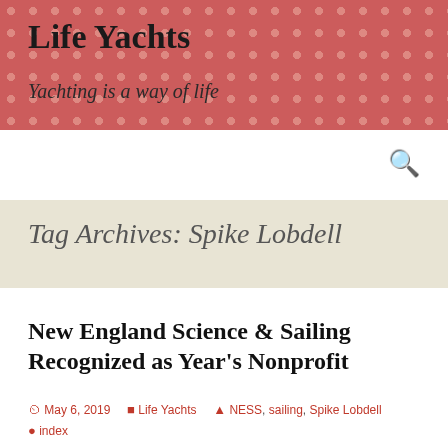Life Yachts
Yachting is a way of life
Tag Archives: Spike Lobdell
New England Science & Sailing Recognized as Year's Nonprofit
May 6, 2019   Life Yachts   NESS, sailing, Spike Lobdell   index